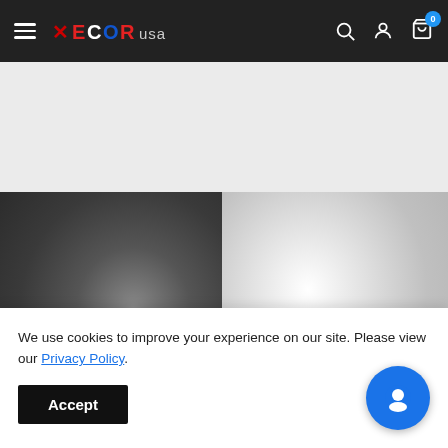XSocor USA — navigation bar with hamburger menu, logo, search, account, and cart (0 items)
[Figure (screenshot): Two blurred product images side by side — left image is dark gray, right image is light gray/white]
We use cookies to improve your experience on our site. Please view our Privacy Policy.
Accept